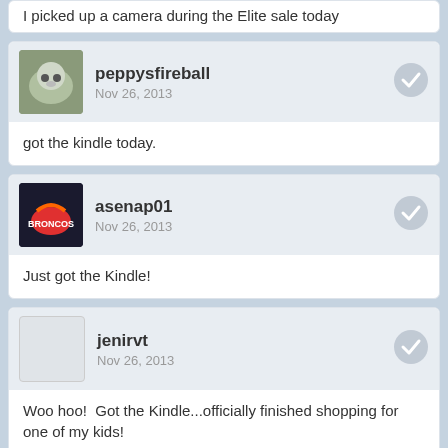I picked up a camera during the Elite sale today
peppysfireball
Nov 26, 2013
got the kindle today.
asenap01
Nov 26, 2013
Just got the Kindle!
jenirvt
Nov 26, 2013
Woo hoo!  Got the Kindle...officially finished shopping for one of my kids!
Share | Share
« Prev
Next »
Full Version